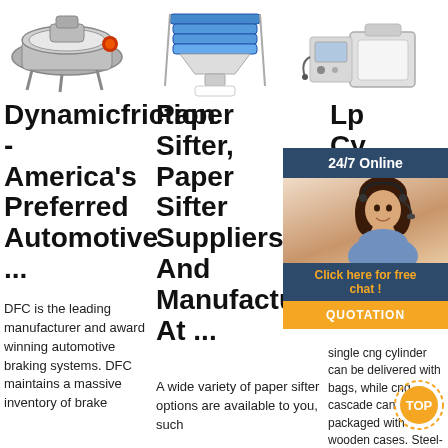[Figure (photo): Industrial sifter machine, circular/disc type with red accent parts]
[Figure (photo): Multi-tier industrial vibrating sifter machine on white stand]
[Figure (photo): Industrial powder/grain processing machine with control panel]
Dynamicfriction - America's Preferred Automotive ...
Paper Sifter, Paper Sifter Suppliers And Manufacturers At ...
Lp Cy Su Ma W Ar
[Figure (infographic): 24/7 Online chat widget with female agent wearing headset, orange QUOTATION button and 'Click here for free chat!' text]
DFC is the leading manufacturer and award winning automotive braking systems. DFC maintains a massive inventory of brake
A wide variety of paper sifter options are available to you, such
single cng cylinder can be delivered with bags, while cng cascade can packaged with wooden cases. Steel-based cng
[Figure (infographic): Orange TOP button with dotted circle design]